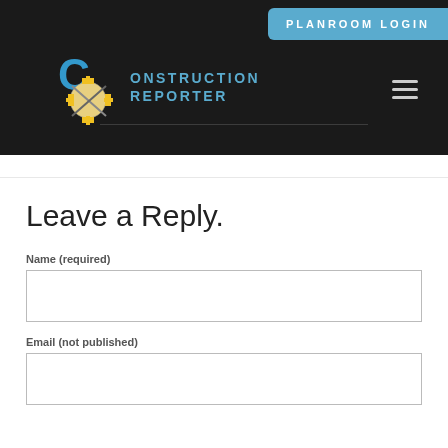[Figure (logo): Construction Reporter website header with dark background, blue PLANROOM LOGIN button, Construction Reporter logo with New Mexico zia sun symbol, and hamburger menu icon]
Leave a Reply.
Name (required)
Email (not published)